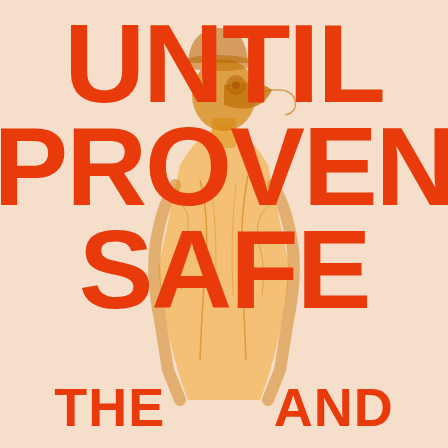[Figure (illustration): A figure wearing a yellow hazmat or protective suit and a plague-doctor-style beak mask, rendered in warm orange/amber tones against a peach/cream background, placed centrally behind the large title text.]
UNTIL PROVEN SAFE
THE   AND